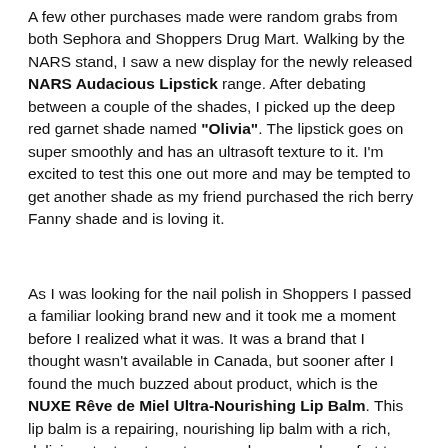A few other purchases made were random grabs from both Sephora and Shoppers Drug Mart. Walking by the NARS stand, I saw a new display for the newly released NARS Audacious Lipstick range. After debating between a couple of the shades, I picked up the deep red garnet shade named "Olivia". The lipstick goes on super smoothly and has an ultrasoft texture to it. I'm excited to test this one out more and may be tempted to get another shade as my friend purchased the rich berry Fanny shade and is loving it.
As I was looking for the nail polish in Shoppers I passed a familiar looking brand new and it took me a moment before I realized what it was. It was a brand that I thought wasn't available in Canada, but sooner after I found the much buzzed about product, which is the NUXE Rêve de Miel Ultra-Nourishing Lip Balm. This lip balm is a repairing, nourishing lip balm with a rich, delicious texture to restore suppleness and comfort to dry and chapped lips. I know that I made the recent purchase of the Chanel lip balm not long ago, but with the hype around this product I just had